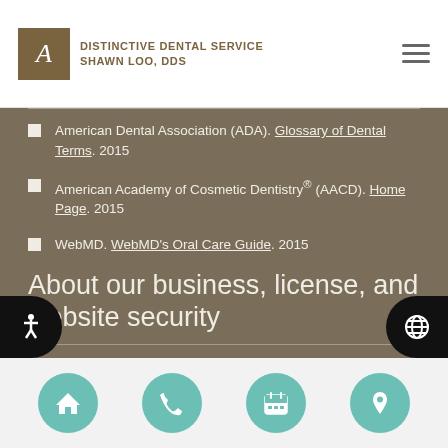DISTINCTIVE DENTAL SERVICE SHAWN LOO, DDS
American Dental Association (ADA). Glossary of Dental Terms. 2015
American Academy of Cosmetic Dentistry® (AACD). Home Page. 2015
WebMD. WebMD's Oral Care Guide. 2015
About our business, license, and website security
Distinctive Dental Service – Shawn Loo, DDS was established in 2007.